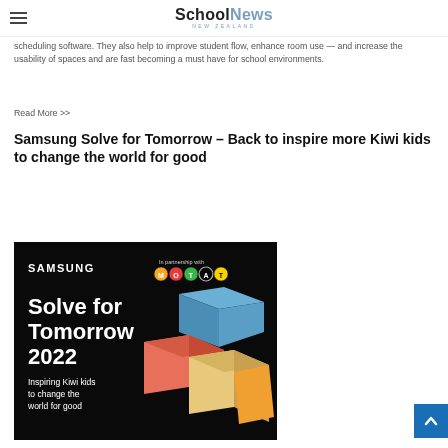SchoolNews NEW ZEALAND
scheduling software. They also help to improve student flow, enhance room use — and increase the usability of spaces and are fast becoming a must have for school environments.
Read More >>
Samsung Solve for Tomorrow – Back to inspire more Kiwi kids to change the world for good
[Figure (photo): Samsung Solve for Tomorrow 2022 advertisement on a black background. Shows Samsung branding, 'Solve for Tomorrow 2022' headline, 'Inspiring Kiwi kids to change the world for good' tagline, colorful 3D block shapes, and 'In partnership with MOTAT' logo.]